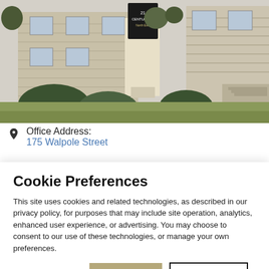[Figure (photo): Exterior photo of a Century 21 real estate office building, a beige two-story structure with a sign out front, surrounded by shrubs and a lawn.]
Office Address:
175 Walpole Street
Cookie Preferences
This site uses cookies and related technologies, as described in our privacy policy, for purposes that may include site operation, analytics, enhanced user experience, or advertising. You may choose to consent to our use of these technologies, or manage your own preferences.
Manage Settings | Accept | Decline All